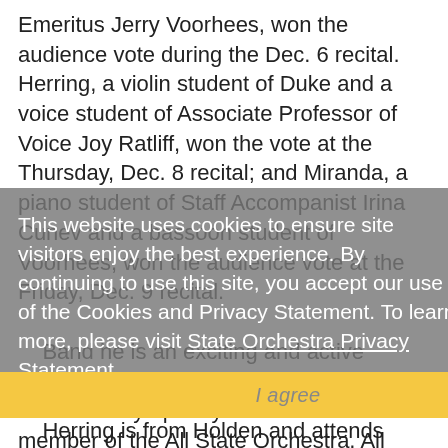Emeritus Jerry Voorhees, won the audience vote during the Dec. 6 recital. Herring, a violin student of Duke and a voice student of Associate Professor of Voice Joy Ratliff, won the vote at the Thursday, Dec. 8 recital; and Miranda, a piano student of Staff Accompanist Irina Cunev and a bassoon student of Voorhees, won the audience vote at the Friday, Dec. 9 recital.
This website uses cookies to ensure site visitors enjoy the best experience. By continuing to use this site, you accept our use of the Cookies and Privacy Statement. To learn more, please visit State Orchestra Privacy Statement.
Band he is an exciting and active musician with the Statenville Jazz Band and Ward Symphony. He has been a member of the All State Orchestra, All State Jazz Band, District IX Jazz Band and District IX Honor Band for several years in a row.
I agree
Herring is from Holden and attends Holden High School. She has studied the violin for 11 years and also plays guitar, mandolin and banjo. She is a singer